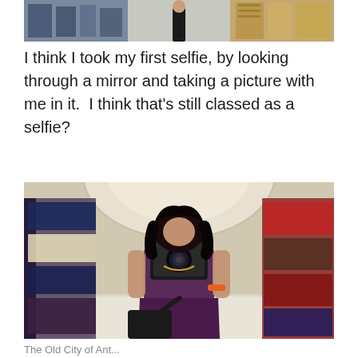[Figure (photo): Top cropped photo showing three panels: a dark blue/grey fabric area on the left, a person in dark clothing in the center, and a woman in a beige/gold outfit on the right]
I think I took my first selfie, by looking through a mirror and taking a picture with me in it.  I think that's still classed as a selfie?
[Figure (photo): A woman in a purple/plum sleeveless dress holding a black camera up to her face, taking a mirror selfie in a clothing shop with colourful garments hanging on racks on both sides and an arched ceiling visible in the background]
The Old City of Ant...